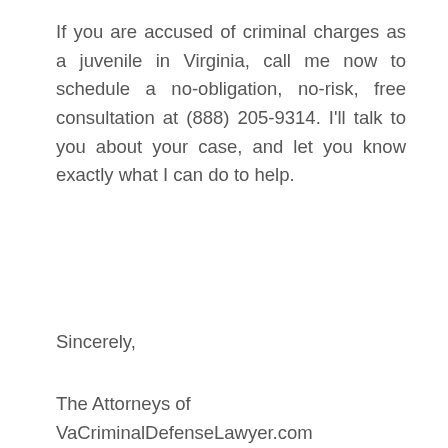If you are accused of criminal charges as a juvenile in Virginia, call me now to schedule a no-obligation, no-risk, free consultation at (888) 205-9314. I'll talk to you about your case, and let you know exactly what I can do to help.
Sincerely,
The Attorneys of VaCriminalDefenseLawyer.com
—
FREE LEGAL CONSULTATION
Contact us for a free legal case evaluation on any criminal charge by calling: